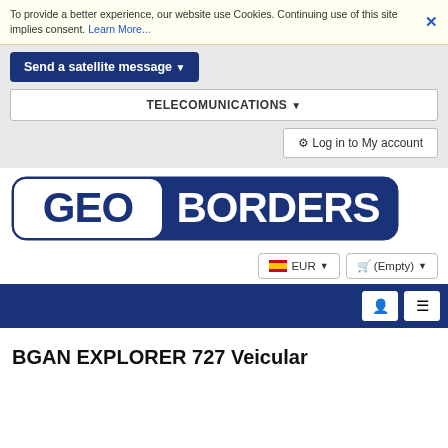To provide a better experience, our website use Cookies. Continuing use of this site implies consent. Learn More...
Send a satellite message ▼
TELECOMUNICATIONS ▼
⚙ Log in to My account
[Figure (logo): GeoBorders logo — white text on dark navy blue rounded rectangle background]
🇪🇸 EUR ▼
🛒 (Empty) ▼
👤 ☰
BGAN EXPLORER 727 Veicular